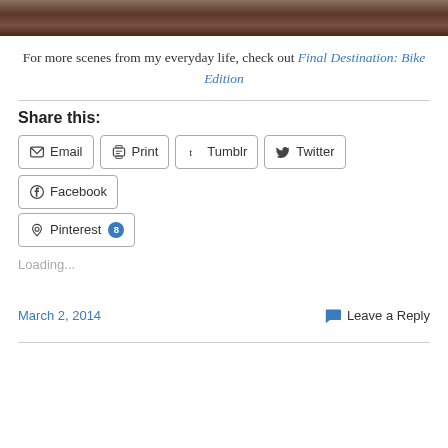[Figure (photo): A cropped photo strip showing food/dishes on a table, dark brownish tones, partially visible at the top of the page]
For more scenes from my everyday life, check out Final Destination: Bike Edition
Share this:
Email  Print  Tumblr  Twitter  Facebook  Pinterest 8
Loading...
March 2, 2014
Leave a Reply